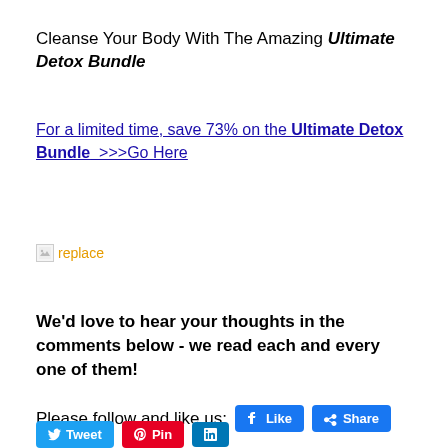Cleanse Your Body With The Amazing Ultimate Detox Bundle
For a limited time, save 73% on the Ultimate Detox Bundle  >>>Go Here
[Figure (other): Broken image placeholder with orange 'replace' text]
We'd love to hear your thoughts in the comments below - we read each and every one of them!
Please follow and like us: [Like] [Share] [Tweet] [Pin] [LinkedIn]